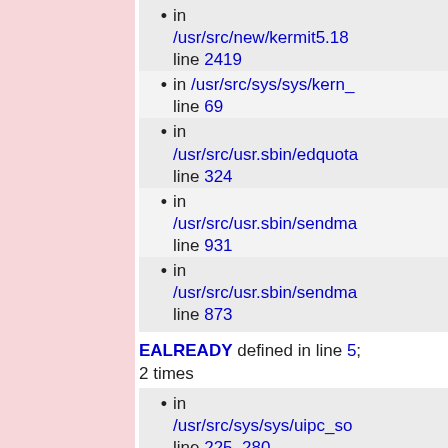in /usr/src/new/kermit5.18 line 2419
in /usr/src/sys/sys/kern_ line 69
in /usr/src/usr.sbin/edquota line 324
in /usr/src/usr.sbin/sendma line 931
in /usr/src/usr.sbin/sendma line 873
EALREADY defined in line 5; used 2 times
in /usr/src/sys/sys/uipc_so line 225, 280
EAUTH defined in line 113; never used
EBADF defined in line 21; us